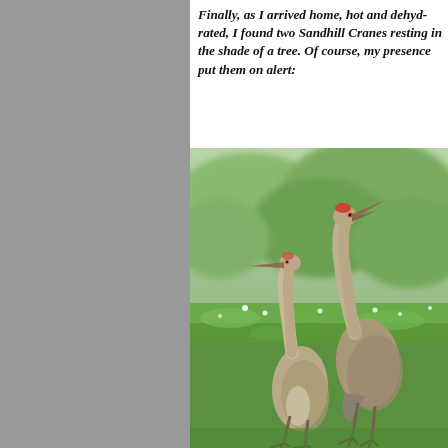Finally, as I arrived home, hot and dehyd... Sandhill Cranes resting in the shade of a... my presence put them on alert:
[Figure (photo): Two Sandhill Cranes standing on green grass with wildflowers and blurry green foliage in the background. The taller crane on the right has its neck stretched upward with beak open, appearing alert. The shorter crane stands in front facing slightly left.]